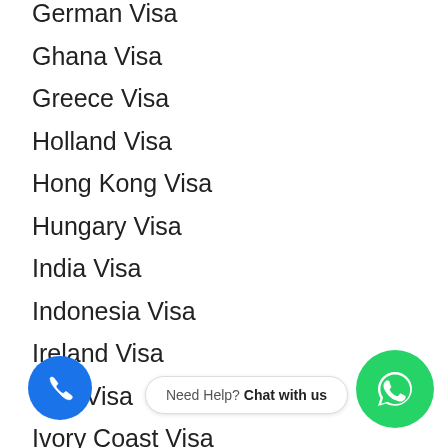German Visa
Ghana Visa
Greece Visa
Holland Visa
Hong Kong Visa
Hungary Visa
India Visa
Indonesia Visa
Ireland Visa
Italy Visa
Ivory Coast Visa
Japan Visa
Jordan Visa
Kazakhstan Visa
Kenya Visa
Lebanon Visa